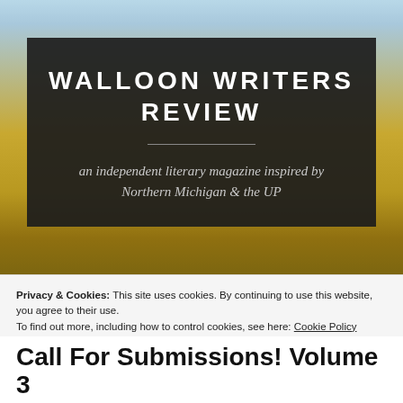[Figure (photo): Background photo of a rural Michigan landscape with golden field, bare trees, and light blue sky. A dark semi-transparent overlay box sits on top with the publication title and subtitle.]
WALLOON WRITERS REVIEW
an independent literary magazine inspired by Northern Michigan & the UP
Privacy & Cookies: This site uses cookies. By continuing to use this website, you agree to their use.
To find out more, including how to control cookies, see here: Cookie Policy
Close and accept
Call For Submissions! Volume 3